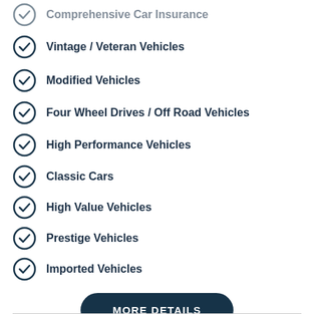Comprehensive Car Insurance
Vintage / Veteran Vehicles
Modified Vehicles
Four Wheel Drives / Off Road Vehicles
High Performance Vehicles
Classic Cars
High Value Vehicles
Prestige Vehicles
Imported Vehicles
MORE DETAILS